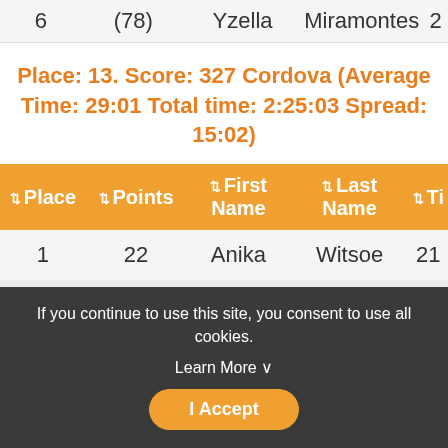| Place | Points | First Name | Last Name | Ti... |
| --- | --- | --- | --- | --- |
| 6 | (78) | Yzella | Miramontes | 2... |
Place: 13. Score: 327 Cordova (Average Time: 29:01 Total time: 2:25:03 Spread: 15:02)
| Place | Points | First Name | Last Name | Ti... |
| --- | --- | --- | --- | --- |
| 1 | 22 | Anika | Witsoe | 21 |
| 2 | 64 | Amee | Hamberger | 25 |
| 3 | 79 | Jessica | Wray | 29 |
| 4 | 80 | Zya | Taylor | 30 |
If you continue to use this site, you consent to use all cookies. Learn More